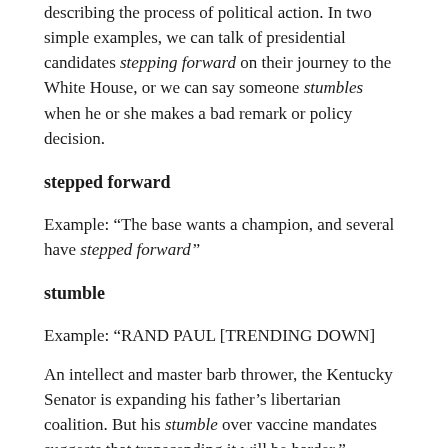describing the process of political action. In two simple examples, we can talk of presidential candidates stepping forward on their journey to the White House, or we can say someone stumbles when he or she makes a bad remark or policy decision.
stepped forward
Example: “The base wants a champion, and several have stepped forward”
stumble
Example: “RAND PAUL [TRENDING DOWN]
An intellect and master barb thrower, the Kentucky Senator is expanding his father’s libertarian coalition. But his stumble over vaccine mandates suggests that transcending it will be harder.”